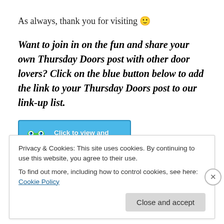As always, thank you for visiting 🙂
Want to join in on the fun and share your own Thursday Doors post with other door lovers? Click on the blue button below to add the link to your Thursday Doors post to our link-up list.
[Figure (other): Blue button with cartoon frog graphic and text 'Click to view and add your links!']
Don't forget that if you share your blog posts on Twitter
Privacy & Cookies: This site uses cookies. By continuing to use this website, you agree to their use.
To find out more, including how to control cookies, see here: Cookie Policy
Close and accept